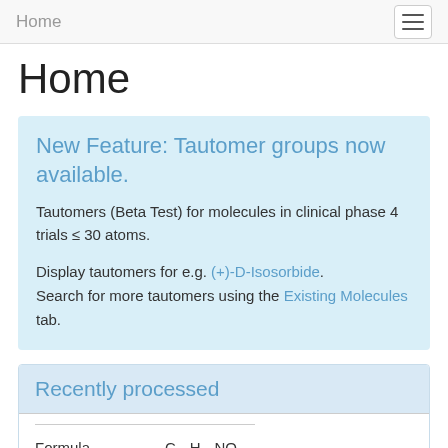Home
Home
New Feature: Tautomer groups now available.
Tautomers (Beta Test) for molecules in clinical phase 4 trials ≤ 30 atoms.
Display tautomers for e.g. (+)-D-Isosorbide. Search for more tautomers using the Existing Molecules tab.
Recently processed
| Formula |  |
| --- | --- |
| Formula | C15H23NO |